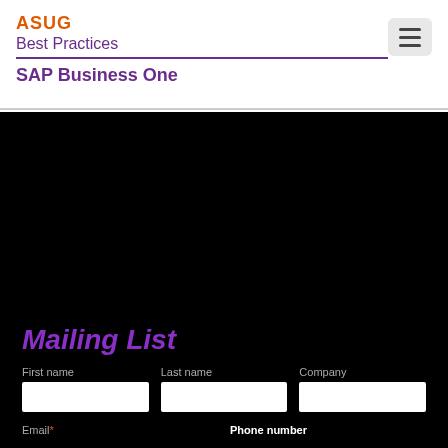ASUG Best Practices SAP Business One
[Figure (other): Black background hero image area]
Mailing List
First name, Last name, Company form fields
Email (required), Phone number labels